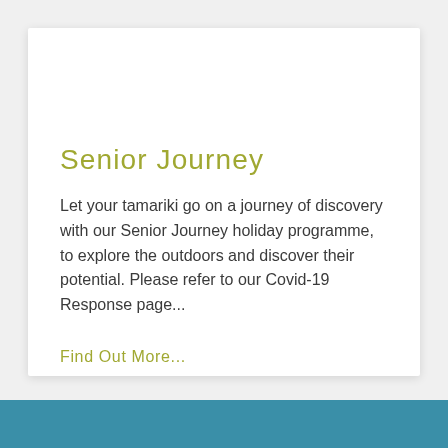Senior Journey
Let your tamariki go on a journey of discovery with our Senior Journey holiday programme, to explore the outdoors and discover their potential. Please refer to our Covid-19 Response page...
Find Out More...